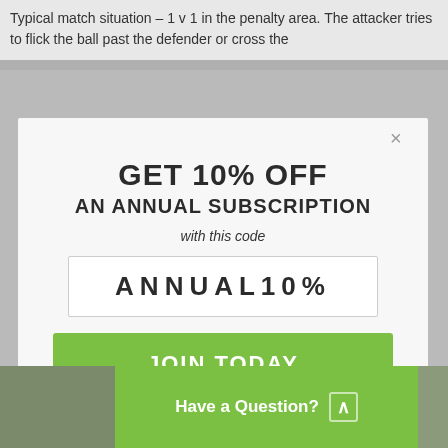Typical match situation – 1 v 1 in the penalty area. The attacker tries to flick the ball past the defender or cross the
[Figure (screenshot): Promotional modal popup over a blurred sports/snow background offering 10% off an annual subscription with code ANNUAL10%, with a green 'JOIN TODAY' button and tagline 'GET READY TO TAKE YOUR TEAM TO THE NEXT LEVEL']
Have a Question? ^